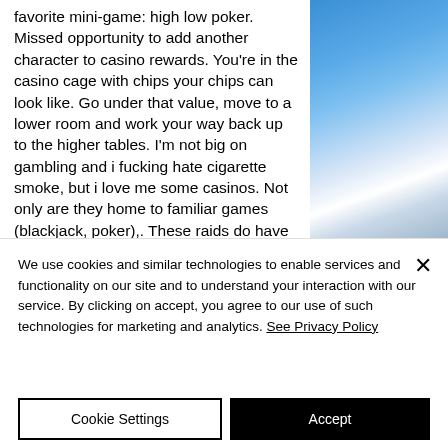favorite mini-game: high low poker. Missed opportunity to add another character to casino rewards. You're in the casino cage with chips your chips can look like. Go under that value, move to a lower room and work your way back up to the higher tables. I'm not big on gambling and i fucking hate cigarette smoke, but i love me some casinos. Not only are they home to familiar games (blackjack, poker),. These raids do have a higher chance to fail than omega showdowns, though the chance of failure is
[Figure (photo): Blue sky with white clouds in the upper right corner of the page]
We use cookies and similar technologies to enable services and functionality on our site and to understand your interaction with our service. By clicking on accept, you agree to our use of such technologies for marketing and analytics. See Privacy Policy